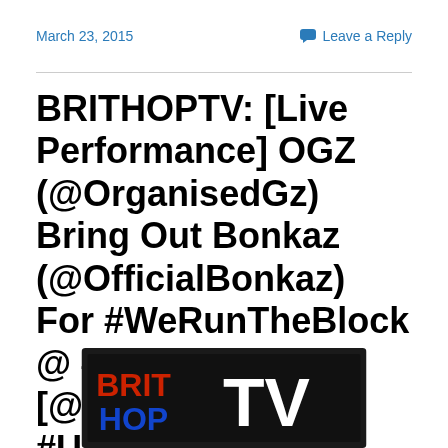March 23, 2015
Leave a Reply
BRITHOPTV: [Live Performance] OGZ (@OrganisedGz) Bring Out Bonkaz (@OfficialBonkaz) For #WeRunTheBlock @ #TheDen [@BlueReignMG] | #UKRap #Grime
[Figure (logo): BRITHOPTV logo — black background with red/blue/white BRIT HOP text and white TV text]